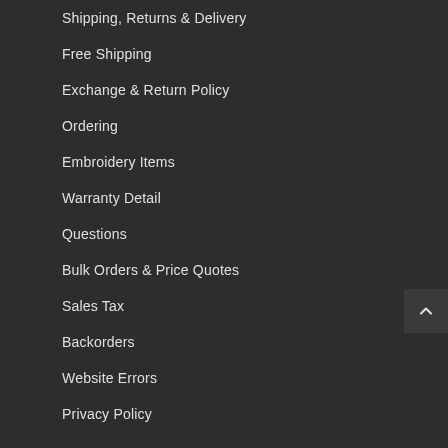Shipping, Returns & Delivery
Free Shipping
Exchange & Return Policy
Ordering
Embroidery Items
Warranty Detail
Questions
Bulk Orders & Price Quotes
Sales Tax
Backorders
Website Errors
Privacy Policy
PROTECT+
Home